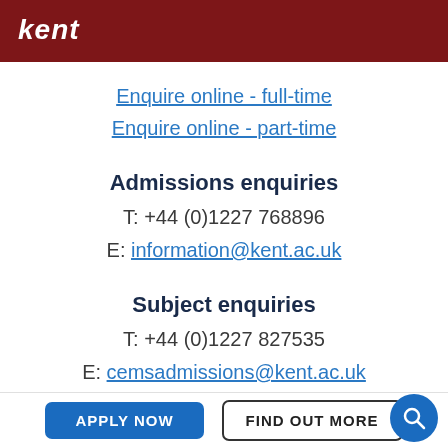kent
Enquire online - full-time
Enquire online - part-time
Admissions enquiries
T: +44 (0)1227 768896
E: information@kent.ac.uk
Subject enquiries
T: +44 (0)1227 827535
E: cemsadmissions@kent.ac.uk
APPLY NOW  FIND OUT MORE